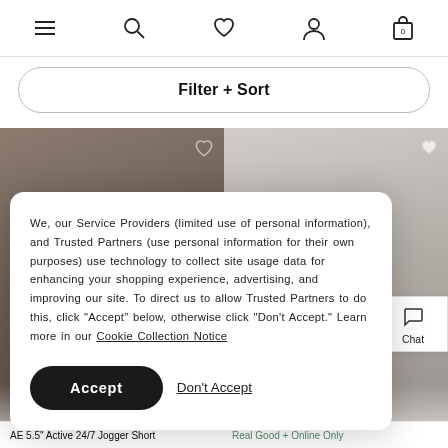Navigation bar with menu, search, wishlist, account, and cart (0) icons
Filter + Sort
[Figure (photo): Two product photos side by side: left shows a man in a plaid shirt, right shows a man in grey jogger pants and white shirt with sneakers]
We, our Service Providers (limited use of personal information), and Trusted Partners (use personal information for their own purposes) use technology to collect site usage data for enhancing your shopping experience, advertising, and improving our site. To direct us to allow Trusted Partners to do this, click “Accept” below, otherwise click “Don’t Accept.” Learn more in our Cookie Collection Notice
Accept
Don't Accept
AE 5.5" Active 24/7 Jogger Short
Real Good + Online Only